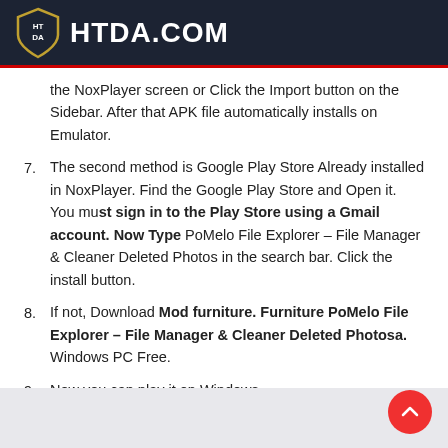HTDA.COM
the NoxPlayer screen or Click the Import button on the Sidebar. After that APK file automatically installs on Emulator.
7. The second method is Google Play Store Already installed in NoxPlayer. Find the Google Play Store and Open it. You must sign in to the Play Store using a Gmail account. Now Type PoMelo File Explorer – File Manager & Cleaner Deleted Photos in the search bar. Click the install button.
8. If not, Download Mod furniture. Furniture PoMelo File Explorer – File Manager & Cleaner Deleted Photosa. Windows PC Free.
9. Now you can play it on Windows.